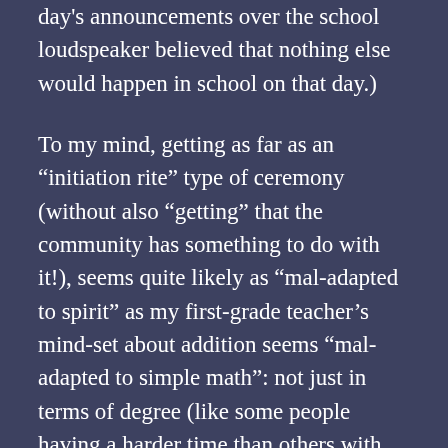day's announcements over the school loudspeaker believed that nothing else would happen in school on that day.)
To my mind, getting as far as an “initiation rite” type of ceremony (without also “getting” that the community has something to do with it!), seems quite likely as “mal-adapted to spirit” as my first-grade teacher’s mind-set about addition seems “mal-adapted to simple math”: not just in terms of degree (like some people having a harder time than others with trigonometry) but in terms of something more